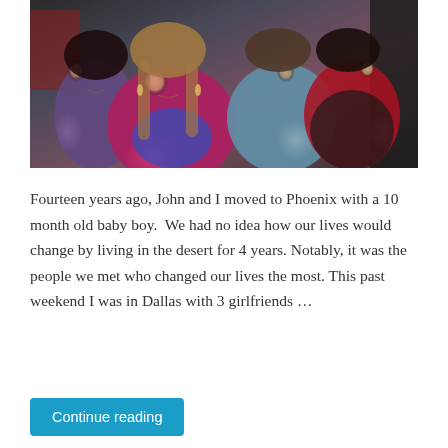[Figure (photo): Group selfie photo of four women smiling. The woman in front wears a bright pink fleece jacket. Others wear a purple jacket, light blue puffer coat, and a red scarf.]
Fourteen years ago, John and I moved to Phoenix with a 10 month old baby boy.  We had no idea how our lives would change by living in the desert for 4 years. Notably, it was the people we met who changed our lives the most. This past weekend I was in Dallas with 3 girlfriends …
Continue reading